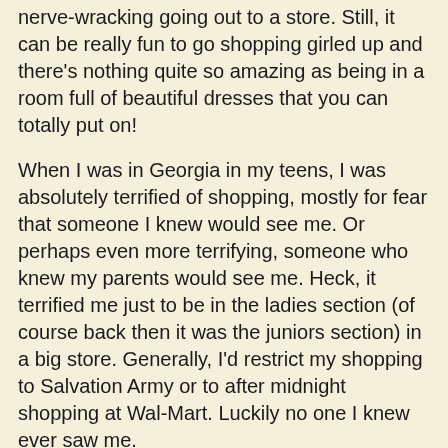nerve-wracking going out to a store. Still, it can be really fun to go shopping girled up and there's nothing quite so amazing as being in a room full of beautiful dresses that you can totally put on!
When I was in Georgia in my teens, I was absolutely terrified of shopping, mostly for fear that someone I knew would see me. Or perhaps even more terrifying, someone who knew my parents would see me. Heck, it terrified me just to be in the ladies section (of course back then it was the juniors section) in a big store. Generally, I'd restrict my shopping to Salvation Army or to after midnight shopping at Wal-Mart. Luckily no one I knew ever saw me.
Once I moved to New York, I started to feel more comfortable shopping in women's clothing stores or in the ladies section. Still, I only ever shopped in guy mode. Going out a girl was till pretty new and terrifying for me back then. So, I'd hit up the cheap clothing stores on Steinway Street in Astoria, Queens and get my skirts and dresses and shirts and things. A place called Easy Pickins was one of my favorite. It was a fairly working class neighborhood, so there